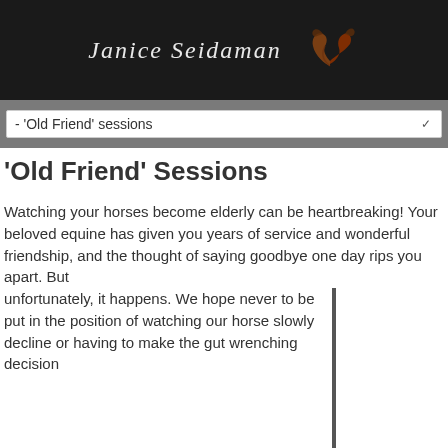[Figure (logo): Website header with script/cursive text logo 'Janice Seidaman' with decorative horse illustration on black background]
- 'Old Friend' sessions
'Old Friend' Sessions
Watching your horses become elderly can be heartbreaking! Your beloved equine has given you years of service and wonderful friendship, and the thought of saying goodbye one day rips you apart. But unfortunately, it happens. We hope never to be put in the position of watching our horse slowly decline or having to make the gut wrenching decision
[Figure (photo): Empty white image box placeholder with dark border on the right side of the page]